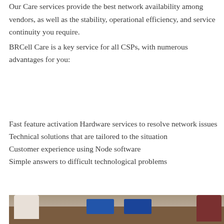Our Care services provide the best network availability among vendors, as well as the stability, operational efficiency, and service continuity you require.
BRCell Care is a key service for all CSPs, with numerous advantages for you:
Fast feature activation Hardware services to resolve network issues
Technical solutions that are tailored to the situation
Customer experience using Node software
Simple answers to difficult technological problems
[Figure (photo): Photo of people working at a desk with devices/tablets visible, shot from above]